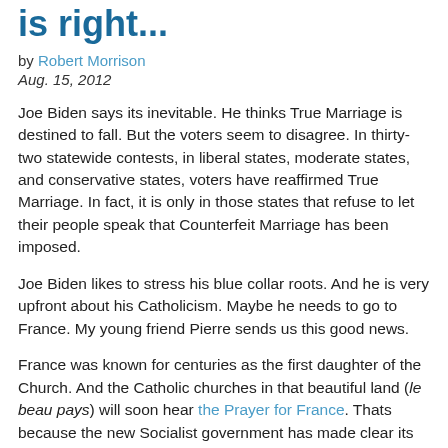is right...
by Robert Morrison
Aug. 15, 2012
Joe Biden says its inevitable. He thinks True Marriage is destined to fall. But the voters seem to disagree. In thirty-two statewide contests, in liberal states, moderate states, and conservative states, voters have reaffirmed True Marriage. In fact, it is only in those states that refuse to let their people speak that Counterfeit Marriage has been imposed.
Joe Biden likes to stress his blue collar roots. And he is very upfront about his Catholicism. Maybe he needs to go to France. My young friend Pierre sends us this good news.
France was known for centuries as the first daughter of the Church. And the Catholic churches in that beautiful land (le beau pays) will soon hear the Prayer for France. Thats because the new Socialist government has made clear its plans to end marriage. They will move quickly to abolish marriage by saying two men or two women must be given the same legal standing as a legally married man and woman.